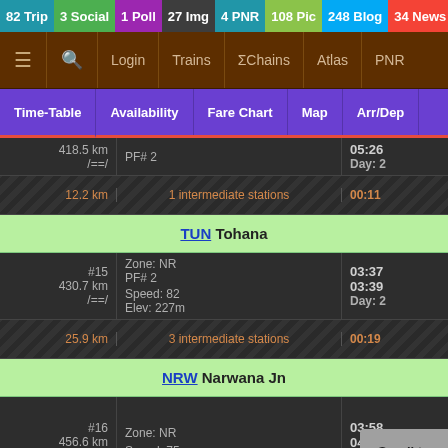82 Trip  3 Social  1 Poll  27 Img  4 PNR  108 Pic  248 Blog  34 News  2 Topic
Login  Trains  ΣChains  Atlas  PNR
Time-Table  Availability  Fare Chart  Map  Arr/Dep
| km/stops | Station Info | Time |
| --- | --- | --- |
| 418.5 km | PF# 2 | 05:26 Day: 2 |
| 12.2 km | 1 intermediate stations | 00:11 |
| TUN Tohana |  |  |
| #15 430.7 km /==/ | Zone: NR  PF# 2  Speed: 82  Elev: 227m | 03:37 03:39 Day: 2 |
| 25.9 km | 3 intermediate stations | 00:19 |
| NRW Narwana Jn |  |  |
| #16 456.6 km /==/ | Zone: NR  Speed: 75 | 03:58 04:... D... |
| 33.9 km | 4 intermediate stations |  |